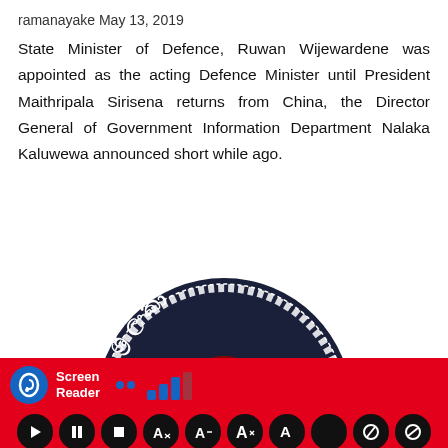ramanayake May 13, 2019
State Minister of Defence, Ruwan Wijewardene was appointed as the acting Defence Minister until President Maithripala Sirisena returns from China, the Director General of Government Information Department Nalaka Kaluwewa announced short while ago.
[Figure (photo): Sri Lanka Police badge/emblem - circular dark navy badge with Sinhala script text and a central dhamma chakra wheel design in yellow and red, with decorative zigzag border pattern]
[Figure (screenshot): Screen Reader accessibility toolbar in red with ear icon, 'Screen Reader' label, signal bar graphic, playback control buttons (play, pause, stop, and other controls) on a red background]